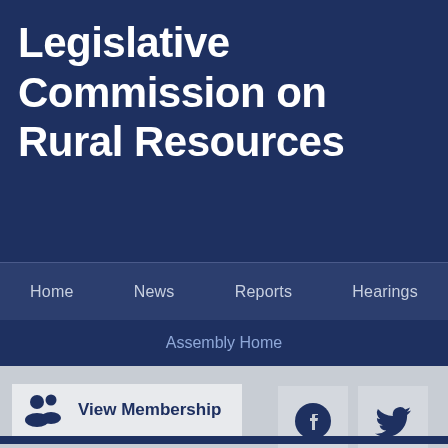Legislative Commission on Rural Resources
Home   News   Reports   Hearings
Assembly Home
View Membership
[Figure (other): Facebook and Twitter social media icons]